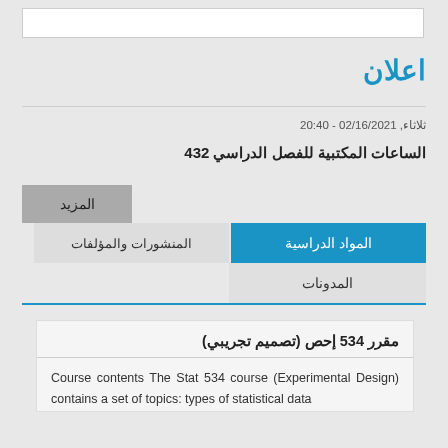اعلان
ثلاثاء, 02/16/2021 - 20:40
الساعات المكتبية للفصل الدراسي 432
المزيد
المواد الدراسية
المنشورات والمؤلفات
المدونات
مقرر 534 إحص (تصميم تجريبي)
Course contents The Stat 534 course (Experimental Design) contains a set of topics: types of statistical data